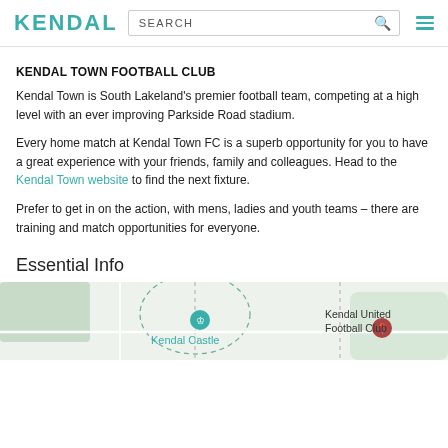KENDAL | SEARCH
KENDAL TOWN FOOTBALL CLUB
Kendal Town is South Lakeland's premier football team, competing at a high level with an ever improving Parkside Road stadium.
Every home match at Kendal Town FC is a superb opportunity for you to have a great experience with your friends, family and colleagues. Head to the Kendal Town website to find the next fixture.
Prefer to get in on the action, with mens, ladies and youth teams – there are training and match opportunities for everyone.
Essential Info
[Figure (map): Map showing Kendal Castle and Kendal United Football Club locations]